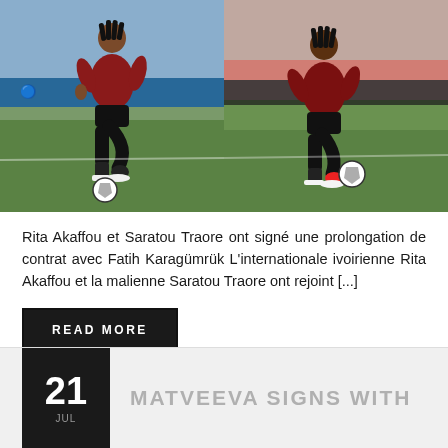[Figure (photo): Two female soccer players in dark red/black uniforms dribbling a ball on a grass field. Left photo shows a player running with the ball, right photo shows another player near the ball on the pitch.]
Rita Akaffou et Saratou Traore ont signé une prolongation de contrat avec Fatih Karagümrük L'internationale ivoirienne Rita Akaffou et la malienne Saratou Traore ont rejoint [...]
READ MORE
21
MATVEEVA SIGNS WITH